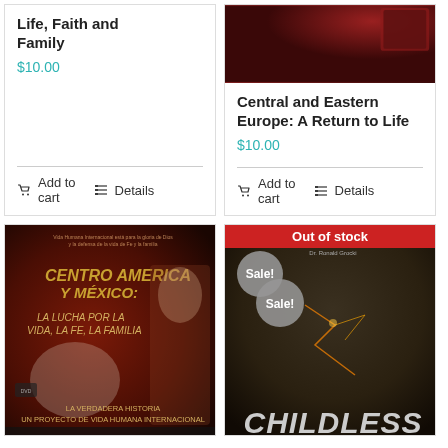Life, Faith and Family
$10.00
Add to cart
Details
[Figure (photo): Book/DVD cover image for Central and Eastern Europe: A Return to Life, dark red tones]
Central and Eastern Europe: A Return to Life
$10.00
Add to cart
Details
[Figure (photo): DVD cover: Centro America y Mexico: La Lucha por la Vida, la Fe, la Familia — Spanish language DVD with religious imagery]
[Figure (photo): Book cover: Childless — dark toned cover with cracked/broken imagery and Sale! badge, Out of stock banner]